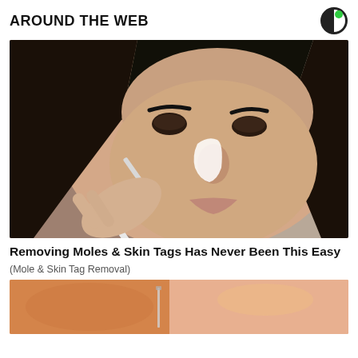AROUND THE WEB
[Figure (photo): Close-up photo of a woman with dark hair applying something white to her nose with a small brush or tool. The image shows a beauty/skincare treatment being applied to the nose area.]
Removing Moles & Skin Tags Has Never Been This Easy
(Mole & Skin Tag Removal)
[Figure (photo): Partial photo showing what appears to be skin with orange/peach tones, likely related to a skin treatment product or procedure.]